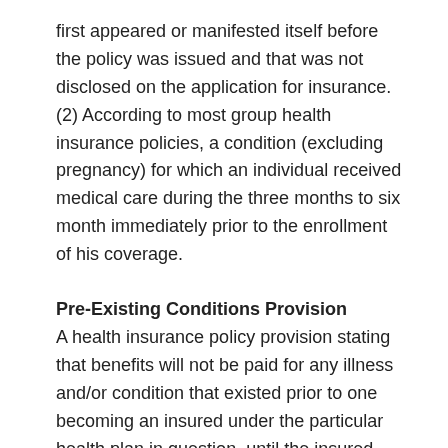first appeared or manifested itself before the policy was issued and that was not disclosed on the application for insurance. (2) According to most group health insurance policies, a condition (excluding pregnancy) for which an individual received medical care during the three months to six month immediately prior to the enrollment of his coverage.
Pre-Existing Conditions Provision
A health insurance policy provision stating that benefits will not be paid for any illness and/or condition that existed prior to one becoming an insured under the particular health plan in question, until the insured has been covered under the policy for a specified period.